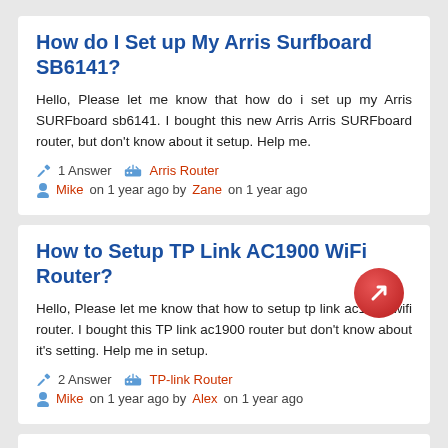How do I Set up My Arris Surfboard SB6141?
Hello, Please let me know that how do i set up my Arris SURFboard sb6141. I bought this new Arris Arris SURFboard router, but don't know about it setup. Help me.
✏ 1 Answer  🖥 Arris Router
👤 Mike on 1 year ago by Zane on 1 year ago
How to Setup TP Link AC1900 WiFi Router?
Hello, Please let me know that how to setup tp link ac1900 wifi router. I bought this TP link ac1900 router but don't know about it's setting. Help me in setup.
✏ 2 Answer  🖥 TP-link Router
👤 Mike on 1 year ago by Alex on 1 year ago